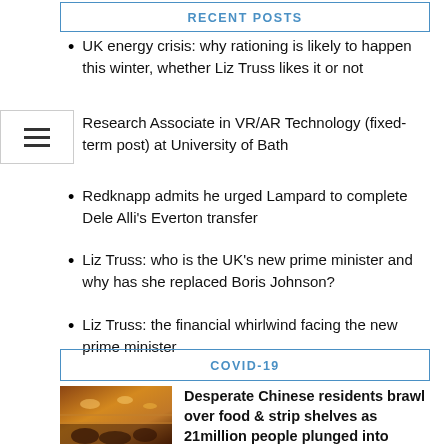RECENT POSTS
UK energy crisis: why rationing is likely to happen this winter, whether Liz Truss likes it or not
Research Associate in VR/AR Technology (fixed-term post) at University of Bath
Redknapp admits he urged Lampard to complete Dele Alli's Everton transfer
Liz Truss: who is the UK's new prime minister and why has she replaced Boris Johnson?
Liz Truss: the financial whirlwind facing the new prime minister
COVID-19
[Figure (photo): Photo of people in a store/market, crowded scene with warm lighting]
Desperate Chinese residents brawl over food & strip shelves as 21million people plunged into